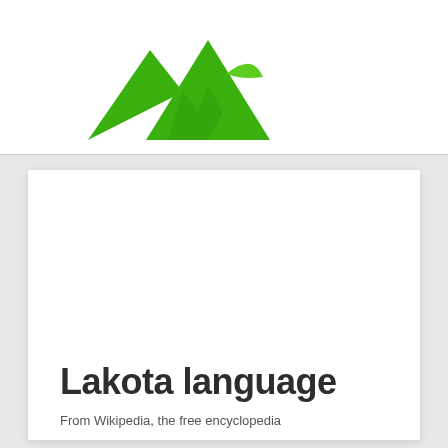[Figure (logo): Green mountain/peaks logo with a leaf accent, Evernote-style icon]
Lakota language
From Wikipedia, the free encyclopedia